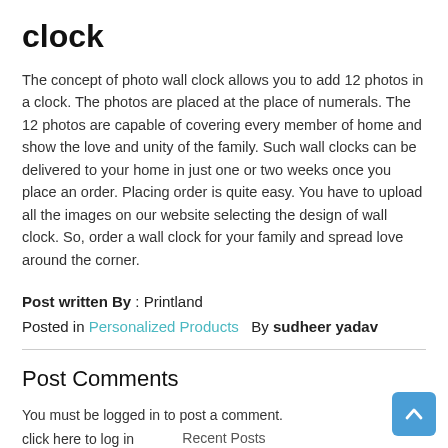clock
The concept of photo wall clock allows you to add 12 photos in a clock. The photos are placed at the place of numerals. The 12 photos are capable of covering every member of home and show the love and unity of the family. Such wall clocks can be delivered to your home in just one or two weeks once you place an order. Placing order is quite easy. You have to upload all the images on our website selecting the design of wall clock. So, order a wall clock for your family and spread love around the corner.
Post written By : Printland
Posted in Personalized Products  By sudheer yadav
Post Comments
You must be logged in to post a comment.
click here to log in